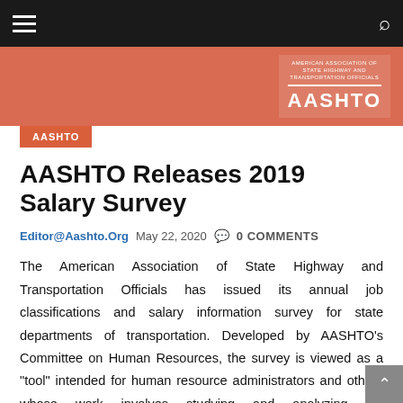Navigation bar with hamburger menu and search icon
[Figure (logo): AASHTO banner with red/salmon background and AASHTO logo on the right with tagline 'American Association of State Highway and Transportation Officials']
AASHTO
AASHTO Releases 2019 Salary Survey
Editor@Aashto.Org   May 22, 2020   0 COMMENTS
The American Association of State Highway and Transportation Officials has issued its annual job classifications and salary information survey for state departments of transportation. Developed by AASHTO’s Committee on Human Resources, the survey is viewed as a “tool” intended for human resource administrators and others whose work involves studying and analyzing job classifications, writing job [...]